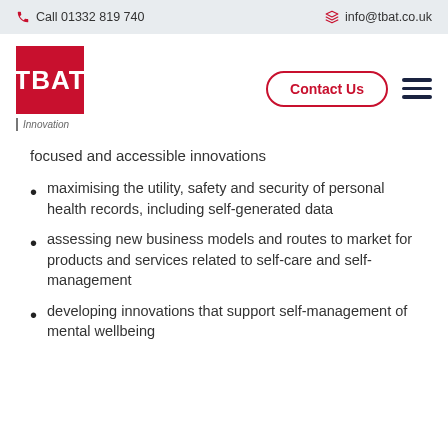Call 01332 819 740  |  info@tbat.co.uk
[Figure (logo): TBAT Innovation logo — red square with white TBAT text, subtitle 'Innovation']
focused and accessible innovations
maximising the utility, safety and security of personal health records, including self-generated data
assessing new business models and routes to market for products and services related to self-care and self-management
developing innovations that support self-management of mental wellbeing